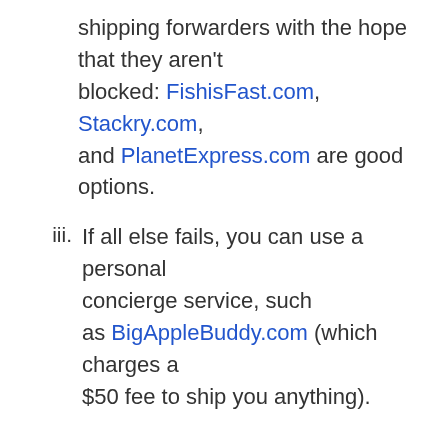shipping forwarders with the hope that they aren't blocked: FishisFast.com, Stackry.com, and PlanetExpress.com are good options.
iii. If all else fails, you can use a personal concierge service, such as BigAppleBuddy.com (which charges a $50 fee to ship you anything).
SHARE: